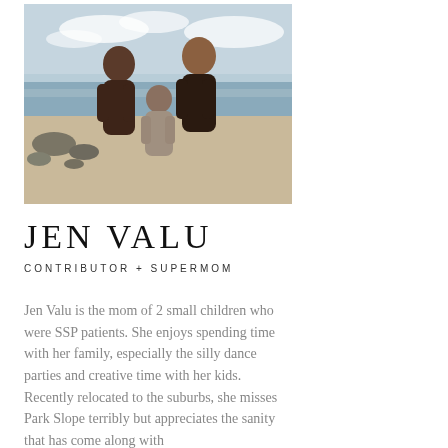[Figure (photo): Photo of three people on a beach — two women and a young child in winter coats, posing together with ocean and rocky shore in the background.]
JEN VALU
CONTRIBUTOR + SUPERMOM
Jen Valu is the mom of 2 small children who were SSP patients. She enjoys spending time with her family, especially the silly dance parties and creative time with her kids. Recently relocated to the suburbs, she misses Park Slope terribly but appreciates the sanity that has come along with